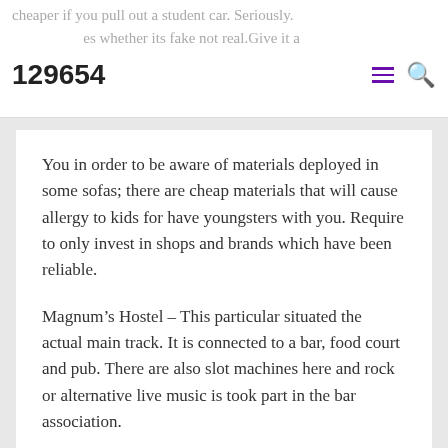cheaper if you pull out a student car. Seriously. 129654 es whether its fake not real. Give it a risk and avoid wasting dollars.
You in order to be aware of materials deployed in some sofas; there are cheap materials that will cause allergy to kids for have youngsters with you. Require to only invest in shops and brands which have been reliable.
Magnum’s Hostel – This particular situated the actual main track. It is connected to a bar, food court and pub. There are also slot machines here and rock or alternative live music is took part in the bar association.
📁 Uncategorized